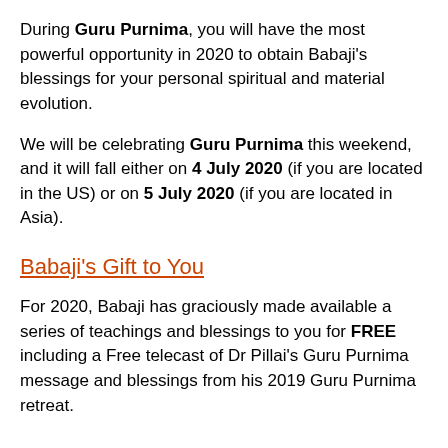During Guru Purnima, you will have the most powerful opportunity in 2020 to obtain Babaji's blessings for your personal spiritual and material evolution.
We will be celebrating Guru Purnima this weekend, and it will fall either on 4 July 2020 (if you are located in the US) or on 5 July 2020 (if you are located in Asia).
Babaji's Gift to You
For 2020, Babaji has graciously made available a series of teachings and blessings to you for FREE including a Free telecast of Dr Pillai's Guru Purnima message and blessings from his 2019 Guru Purnima retreat.